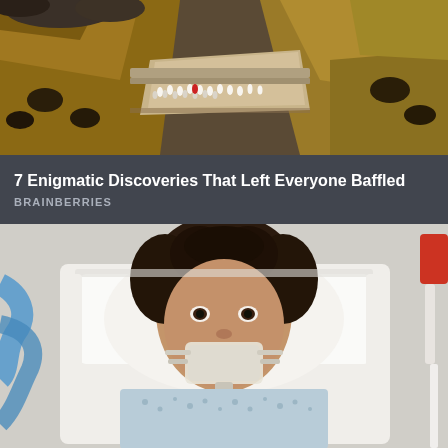[Figure (photo): Aerial view of ancient stone ruins with people walking along a narrow pathway between rocky cliff walls, earth tones of brown and tan]
7 Enigmatic Discoveries That Left Everyone Baffled
BRAINBERRIES
[Figure (photo): Woman lying in hospital bed with oxygen mask/tube on her face, wearing a hospital gown, looking at the camera with curly dark hair, white pillow and sheets, blue medical tubing visible on the left]